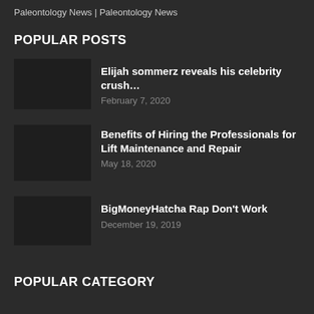Paleontology News | Paleontology News
POPULAR POSTS
Elijah sommerz reveals his celebrity crush…
February 7, 2020
Benefits of Hiring the Professionals for Lift Maintenance and Repair
May 18, 2020
BigMoneyHatcha Rap Don't Work
December 19, 2019
POPULAR CATEGORY